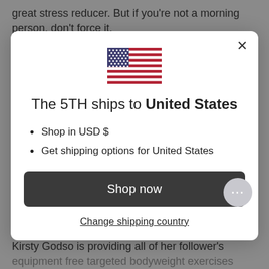great stress reducer. But if you're not a morning person, don't force it.
[Figure (screenshot): Modal dialog showing US flag, text 'The 5TH ships to United States', bullet points 'Shop in USD $' and 'Get shipping options for United States', a dark 'Shop now' button, and a 'Change shipping country' link. An X close button is in the top right of the modal.]
Kirsty Godso is providing all of her follower's equipment free targeted bodyweight exercises